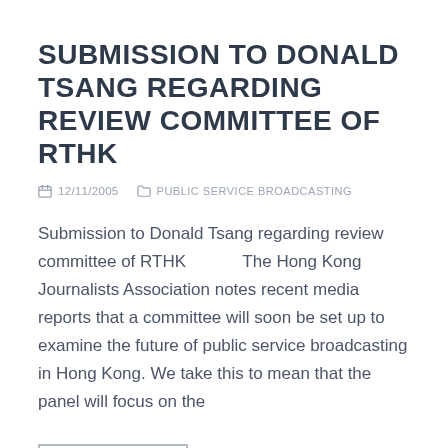SUBMISSION TO DONALD TSANG REGARDING REVIEW COMMITTEE OF RTHK
12/11/2005   PUBLIC SERVICE BROADCASTING
Submission to Donald Tsang regarding review committee of RTHK           The Hong Kong Journalists Association notes recent media reports that a committee will soon be set up to examine the future of public service broadcasting in Hong Kong. We take this to mean that the panel will focus on the
READ MORE